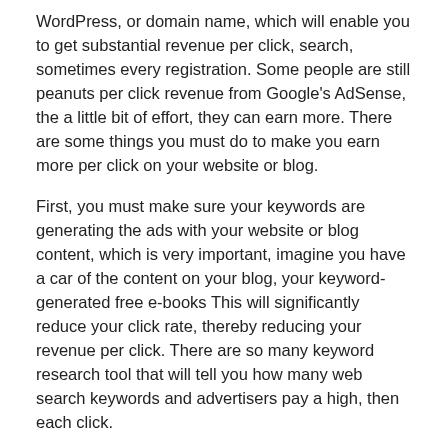WordPress, or domain name, which will enable you to get substantial revenue per click, search, sometimes every registration. Some people are still peanuts per click revenue from Google's AdSense, the a little bit of effort, they can earn more. There are some things you must do to make you earn more per click on your website or blog.
First, you must make sure your keywords are generating the ads with your website or blog content, which is very important, imagine you have a car of the content on your blog, your keyword-generated free e-books This will significantly reduce your click rate, thereby reducing your revenue per click. There are so many keyword research tool that will tell you how many web search keywords and advertisers pay a high, then each click.
Another thing to note is the color of the ads, you will have to change the ad colors to match the color of your blog or website, which will also increase your CTR. Also noted that some colors are not attractive will not attract visitors to click on your ad, the best color for your ad URL is blue, because most people are used to click on the blue link, try to make